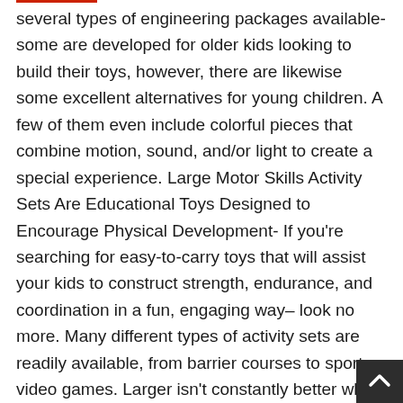several types of engineering packages available-some are developed for older kids looking to build their toys, however, there are likewise some excellent alternatives for young children. A few of them even include colorful pieces that combine motion, sound, and/or light to create a special experience. Large Motor Skills Activity Sets Are Educational Toys Designed to Encourage Physical Development- If you're searching for easy-to-carry toys that will assist your kids to construct strength, endurance, and coordination in a fun, engaging way– look no more. Many different types of activity sets are readily available, from barrier courses to sports video games. Larger isn't constantly better when it concerns instructional toys– the very best ones can be found in a variety of sizes so they can be utilized not only at home however likewise outside or throughout travel. Just like grownups, children find a...